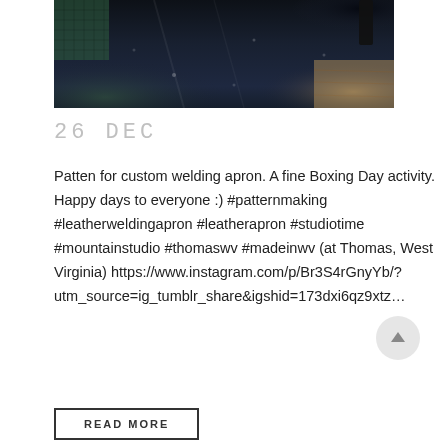[Figure (photo): Dark navy/black fabric laid out on a wooden surface with a teal cutting mat visible in the top-left corner. Small pins or dots visible on the fabric. A black strap visible in the upper right.]
26 DEC
Patten for custom welding apron. A fine Boxing Day activity. Happy days to everyone :) #patternmaking #leatherweldingapron #leatherapron #studiotime #mountainstudio #thomaswv #madeinwv (at Thomas, West Virginia) https://www.instagram.com/p/Br3S4rGnyYb/?utm_source=ig_tumblr_share&igshid=173dxi6qz9xtz…
READ MORE